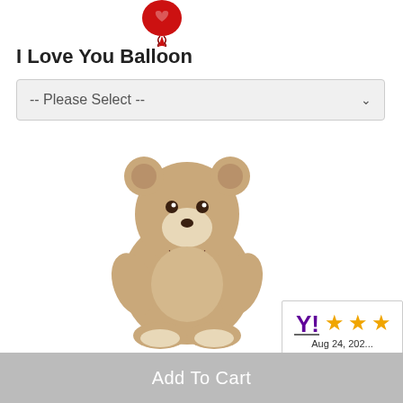[Figure (photo): Red 'I Love You' balloon at top of page, partially cropped]
I Love You Balloon
[Figure (other): Dropdown selector: -- Please Select --]
[Figure (photo): 18-inch Lotsa Love plush teddy bear with bow tie, seated, tan/beige color]
18" Lotsa Love® Bear
[Figure (other): Dropdown selector: -- Please Select --]
[Figure (other): Yahoo shopping badge with 3 stars and date Aug 24, 202...]
Add To Cart